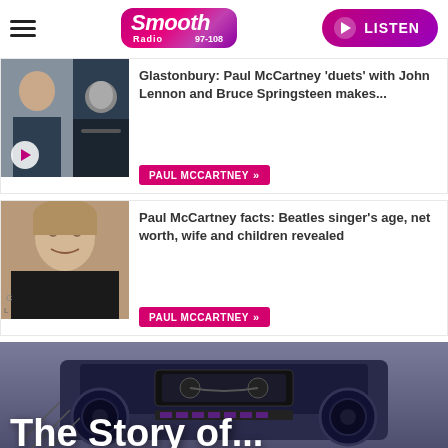[Figure (logo): Smooth Radio 97-108 logo with pink/purple gradient background and LISTEN button]
[Figure (photo): Two photos: Paul McCartney performing and a concert scene]
Glastonbury: Paul McCartney 'duets' with John Lennon and Bruce Springsteen makes...
PAUL MCCARTNEY »
[Figure (photo): Photo of Paul McCartney close-up portrait]
Paul McCartney facts: Beatles singer's age, net worth, wife and children revealed
PAUL MCCARTNEY »
[Figure (photo): The Story of... banner with boombox background image and large white text]